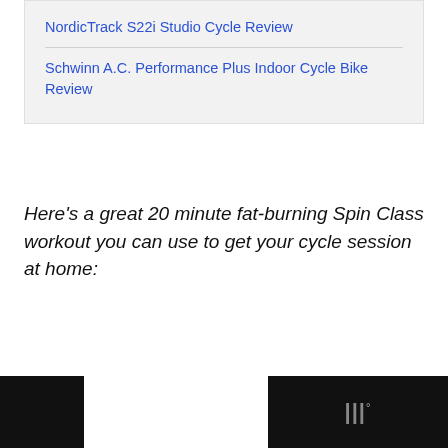NordicTrack S22i Studio Cycle Review
Schwinn A.C. Performance Plus Indoor Cycle Bike Review
Here's a great 20 minute fat-burning Spin Class workout you can use to get your cycle session at home: